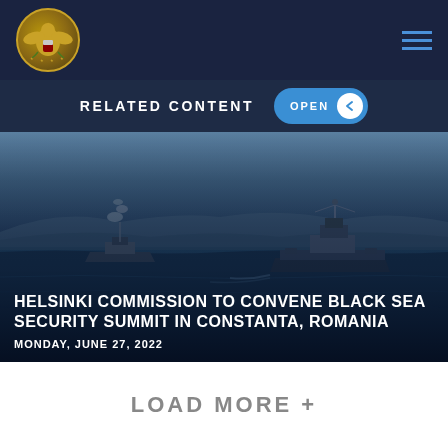[Figure (logo): Commission on Security and Cooperation in Europe seal/logo, circular gold eagle emblem on dark navy background]
RELATED CONTENT
OPEN
[Figure (photo): Naval ships sailing on the Black Sea with mountainous coastline in background, dark blue water, overcast sky]
HELSINKI COMMISSION TO CONVENE BLACK SEA SECURITY SUMMIT IN CONSTANTA, ROMANIA
MONDAY, JUNE 27, 2022
LOAD MORE +